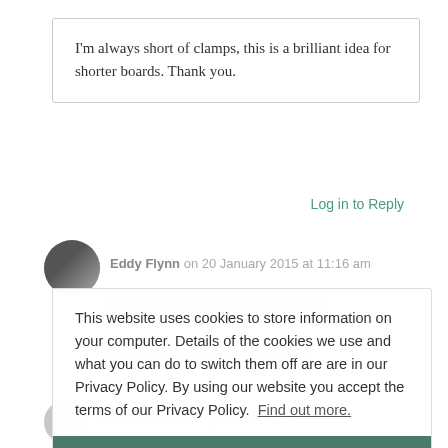I'm always short of clamps, this is a brilliant idea for shorter boards. Thank you.
Log in to Reply
Eddy Flynn on 20 January 2015 at 11:16 am
This website uses cookies to store information on your computer. Details of the cookies we use and what you can do to switch them off are are in our Privacy Policy. By using our website you accept the terms of our Privacy Policy.  Find out more.
Okay
swr123 on 20 January 2015 at 11:32 am